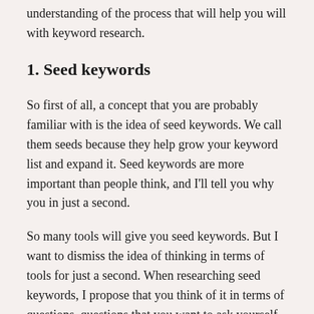understanding of the process that will help you will with keyword research.
1. Seed keywords
So first of all, a concept that you are probably familiar with is the idea of seed keywords. We call them seeds because they help grow your keyword list and expand it. Seed keywords are more important than people think, and I'll tell you why you in just a second.
So many tools will give you seed keywords. But I want to dismiss the idea of thinking in terms of tools for just a second. When researching seed keywords, I propose that you think of it in terms of questions, questions that you want to ask yourself.